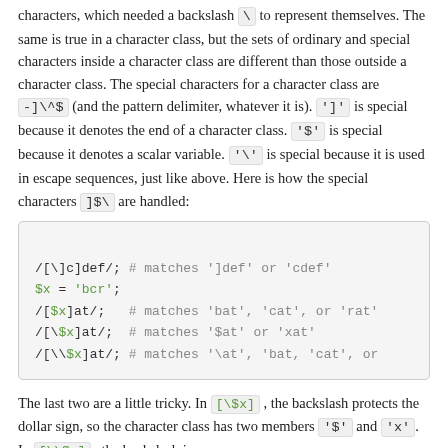characters, which needed a backslash '\' to represent themselves. The same is true in a character class, but the sets of ordinary and special characters inside a character class are different than those outside a character class. The special characters for a character class are -]\^$ (and the pattern delimiter, whatever it is). ']' is special because it denotes the end of a character class. '$' is special because it denotes a scalar variable. '\' is special because it is used in escape sequences, just like above. Here is how the special characters ]$\ are handled:
/[\]c]def/; # matches ']def' or 'cdef'
$x = 'bcr';
/[$x]at/;   # matches 'bat', 'cat', or 'rat'
/[\$x]at/;  # matches '$at' or 'xat'
/[\\$x]at/; # matches '\at', 'bat, 'cat', or
The last two are a little tricky. In [\$x] , the backslash protects the dollar sign, so the character class has two members '$' and 'x'. In [\\$x] , the backslash is